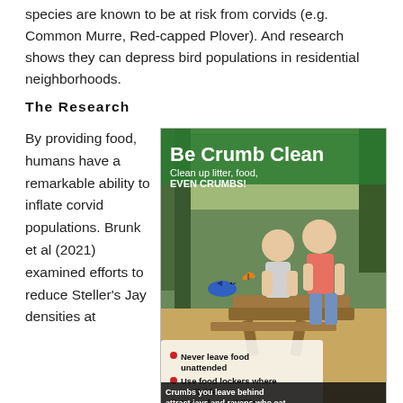species are known to be at risk from corvids (e.g. Common Murre, Red-capped Plover). And research shows they can depress bird populations in residential neighborhoods.
The Research
By providing food, humans have a remarkable ability to inflate corvid populations. Brunk et al (2021) examined efforts to reduce Steller's Jay densities at
[Figure (illustration): An illustrated poster titled 'Be Crumb Clean' showing two children cleaning up at a picnic table in a forest. A Steller's Jay flies nearby. Text reads: 'Clean up litter, food, EVEN CRUMBS!' with bullet points: Never leave food unattended, Use food lockers where available, Never feed wildlife. Bottom text: 'Crumbs you leave behind attract jays and ravens who eat the eggs and babies of the...']